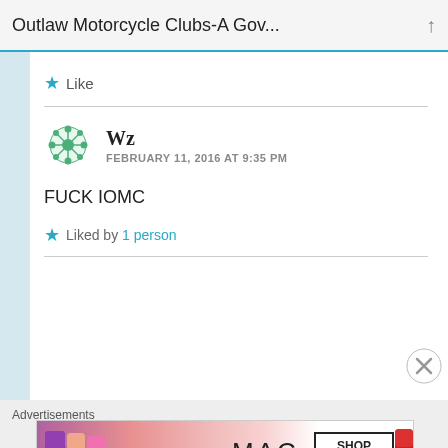Outlaw Motorcycle Clubs-A Gov...
Like
Wz  FEBRUARY 11, 2016 AT 9:35 PM
FUCK IOMC
Liked by 1 person
Advertisements